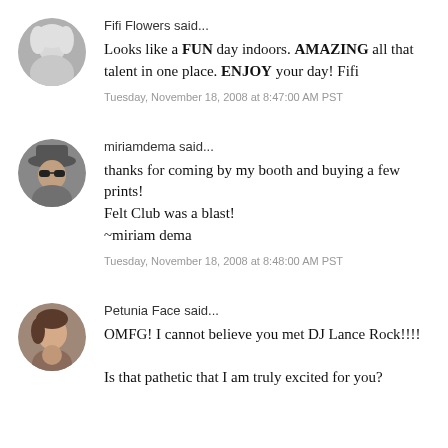Fifi Flowers said...
Looks like a FUN day indoors. AMAZING all that talent in one place. ENJOY your day! Fifi
Tuesday, November 18, 2008 at 8:47:00 AM PST
miriamdema said...
thanks for coming by my booth and buying a few prints!
Felt Club was a blast!
~miriam dema
Tuesday, November 18, 2008 at 8:48:00 AM PST
Petunia Face said...
OMFG! I cannot believe you met DJ Lance Rock!!!!
Is that pathetic that I am truly excited for you?